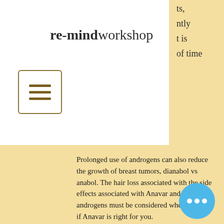re-mindworkshop
ts, ntly t is of time
Prolonged use of androgens can also reduce the growth of breast tumors, dianabol vs anabol. The hair loss associated with the side effects associated with Anavar and other androgens must be considered when deciding if Anavar is right for you.
Anavar is more often used by men with benign prostate enlargement (BPH) where the prostate is located close to the skin, steroid cycle hindi. It can also be used by men with benign prostate surgery, where the prostate has not been removed, and a loss hair. It may also be used by men who have a condition called idiopathic